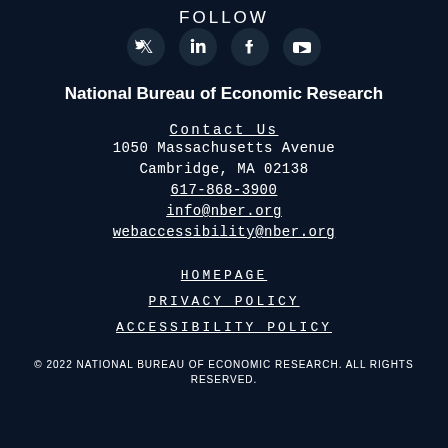FOLLOW
[Figure (illustration): Four social media icons in circular dark buttons: Twitter (bird), LinkedIn (in), Facebook (f), YouTube (play button)]
National Bureau of Economic Research
Contact Us
1050 Massachusetts Avenue
Cambridge, MA 02138
617-868-3900
info@nber.org
webaccessibility@nber.org
HOMEPAGE
PRIVACY POLICY
ACCESSIBILITY POLICY
© 2022 NATIONAL BUREAU OF ECONOMIC RESEARCH. ALL RIGHTS RESERVED.